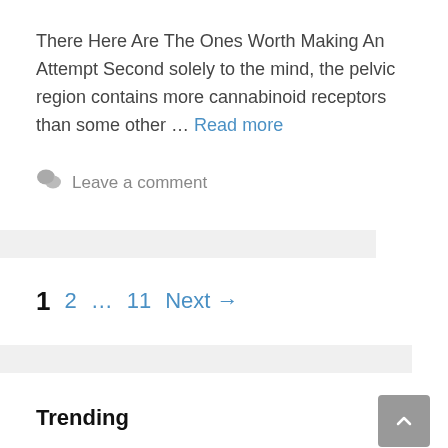There Here Are The Ones Worth Making An Attempt Second solely to the mind, the pelvic region contains more cannabinoid receptors than some other … Read more
Leave a comment
1  2  …  11  Next →
Trending